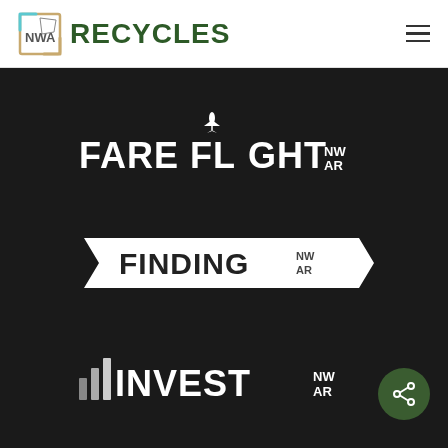NWA RECYCLES
[Figure (logo): FARE FLIGHT NW AR logo with airplane icon on dark background]
[Figure (logo): FINDING NW AR logo with banner/chevron shape on dark background]
[Figure (logo): INVEST NW AR logo with bar chart icon on dark background]